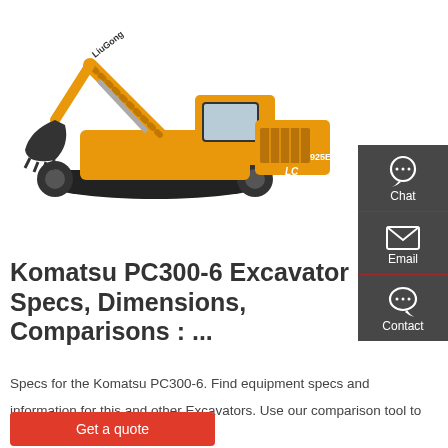[Figure (photo): LiuGong 925E excavator, orange/yellow crawler excavator shown in side profile on white background]
[Figure (infographic): Dark grey sidebar with Chat (headset icon), Email (envelope icon), and Contact (speech bubble icon) buttons separated by red horizontal lines]
Komatsu PC300-6 Excavator Specs, Dimensions, Comparisons : ...
Specs for the Komatsu PC300-6. Find equipment specs and information for this and other Excavators. Use our comparison tool to find comparable machines …
Get a quote